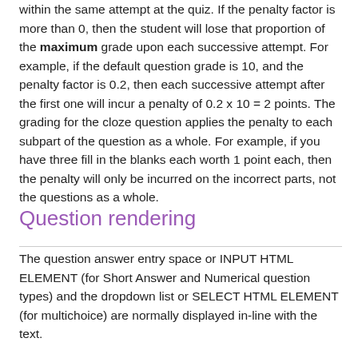within the same attempt at the quiz. If the penalty factor is more than 0, then the student will lose that proportion of the maximum grade upon each successive attempt. For example, if the default question grade is 10, and the penalty factor is 0.2, then each successive attempt after the first one will incur a penalty of 0.2 x 10 = 2 points. The grading for the cloze question applies the penalty to each subpart of the question as a whole. For example, if you have three fill in the blanks each worth 1 point each, then the penalty will only be incurred on the incorrect parts, not the questions as a whole.
Question rendering
The question answer entry space or INPUT HTML ELEMENT (for Short Answer and Numerical question types) and the dropdown list or SELECT HTML ELEMENT (for multichoice) are normally displayed in-line with the text.